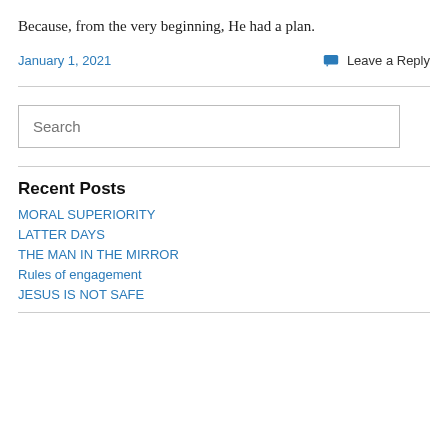Because, from the very beginning, He had a plan.
January 1, 2021
Leave a Reply
Search
Recent Posts
MORAL SUPERIORITY
LATTER DAYS
THE MAN IN THE MIRROR
Rules of engagement
JESUS IS NOT SAFE